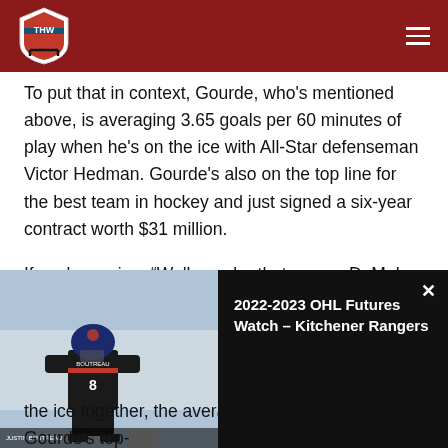THW
To put that in context, Gourde, who's mentioned above, is averaging 3.65 goals per 60 minutes of play when he's on the ice with All-Star defenseman Victor Hedman. Gourde's also on the top line for the best team in hockey and just signed a six-year contract worth $31 million.
If you're saying, “Well, maybe that means DeMelo is
[Figure (screenshot): Video player overlay showing a hockey player wearing jersey number 8 (BOUTREAU) on left panel; right panel shows black background with title '2022-2023 OHL Futures Watch – Kitchener Rangers' and a close button (×)]
the ice together, the average is 4.26 goals. Gourde's top-five